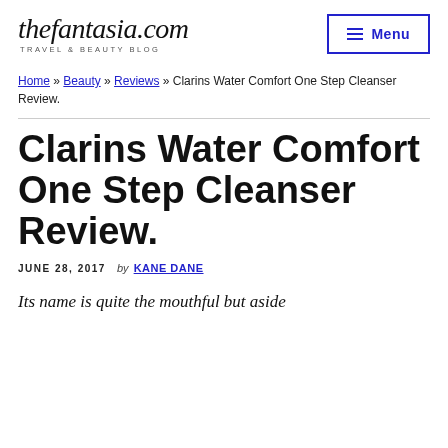thefantasia.com TRAVEL & BEAUTY BLOG
Home » Beauty » Reviews » Clarins Water Comfort One Step Cleanser Review.
Clarins Water Comfort One Step Cleanser Review.
JUNE 28, 2017  by  KANE DANE
Its name is quite the mouthful but aside